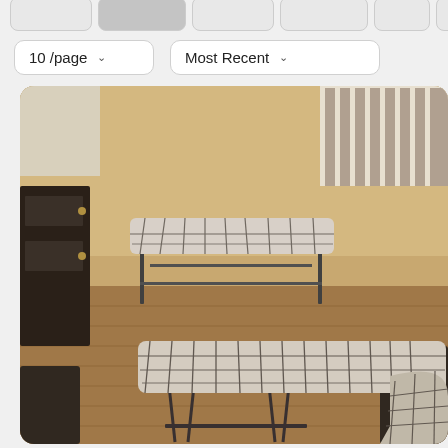[Figure (screenshot): UI screenshot showing pagination controls: '10 /page' dropdown and 'Most Recent' sort dropdown, above a photo of mosaic-topped furniture tables with metal frames on a wood floor.]